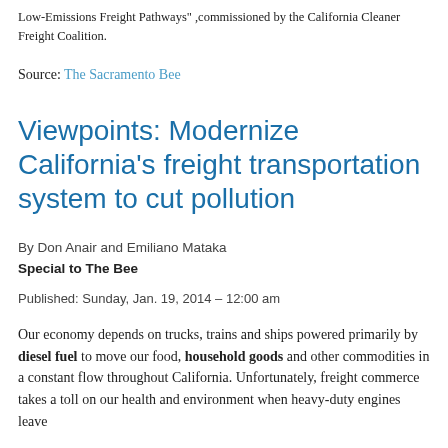Low-Emissions Freight Pathways" ,commissioned by the California Cleaner Freight Coalition.
Source: The Sacramento Bee
Viewpoints: Modernize California's freight transportation system to cut pollution
By Don Anair and Emiliano Mataka
Special to The Bee
Published: Sunday, Jan. 19, 2014 – 12:00 am
Our economy depends on trucks, trains and ships powered primarily by diesel fuel to move our food, household goods and other commodities in a constant flow throughout California. Unfortunately, freight commerce takes a toll on our health and environment when heavy-duty engines leave